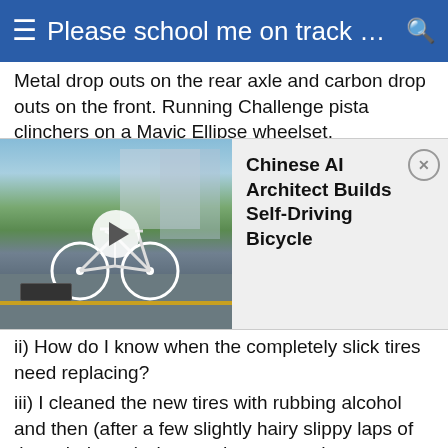Please school me on track bike …
Metal drop outs on the rear axle and carbon drop outs on the front. Running Challenge pista clinchers on a Mavic Ellipse wheelset.
[Figure (screenshot): Video thumbnail showing a bicycle on a road/parking lot with a play button overlay. An ad panel to the right reads: Chinese AI Architect Builds Self-Driving Bicycle, with a close (x) button.]
ii) How do I know when the completely slick tires need replacing?
iii) I cleaned the new tires with rubbing alcohol and then (after a few slightly hairy slippy laps of the velodrome) also used some sandpaper to roughen the tire surface. Should I use alcohol every time I go to the track
iv) How do I check chain wear, can I just use a standard chain gauge tool - and should I replace at 0.5% stretch like with my road bike?
v) Do I need to check chain tension if I am leaving the rear